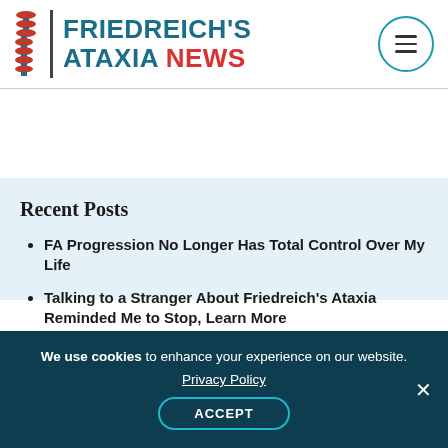[Figure (logo): Friedreich's Ataxia News logo with spine graphic, vertical divider, and stylized text]
Recent Posts
FA Progression No Longer Has Total Control Over My Life
Talking to a Stranger About Friedreich's Ataxia Reminded Me to Stop, Learn More
We use cookies to enhance your experience on our website.
Privacy Policy
ACCEPT